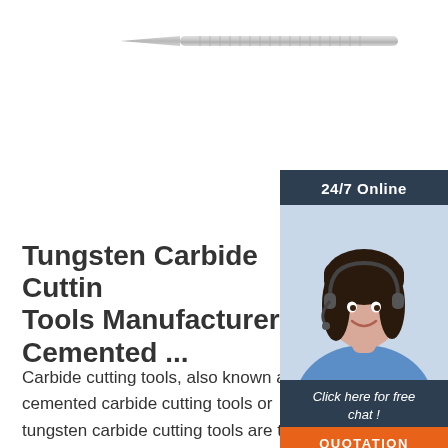[Figure (illustration): A long, slender tungsten carbide cutting tool / rotary burr shown horizontally against white background. The tool tapers to a fine point on the left, with a cylindrical shank on the right.]
[Figure (photo): Sidebar widget with dark navy background. Top section shows '24/7 Online' header text. Middle section shows a photo of a smiling woman with dark hair wearing a headset and blue shirt (customer service representative). Bottom section shows italic text 'Click here for free chat !' and an orange button labeled 'QUOTATION'.]
Tungsten Carbide Cutting Tools Manufacturer, Cemented ...
Carbide cutting tools, also known as cemented carbide cutting tools or tungsten carbide cutting tools are the leading products of CNC machining tools. In some countries, more than 90% of turning tools and 55% of milling tools are made of cemented carbide, and this trend is
[Figure (logo): Orange 'TOP' badge with three orange dots arranged in a triangle above the word TOP in bold orange text.]